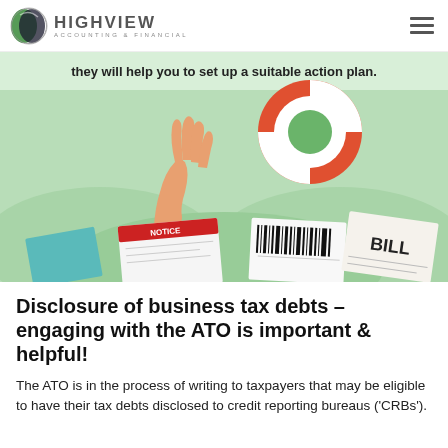HIGHVIEW ACCOUNTING & FINANCIAL
[Figure (illustration): Illustration of a hand reaching up from a pile of bills and notices, with a red-and-white life preserver ring above. Text visible: 'they will help you to set up a suitable action plan.' and 'BILL'. Green background with wave shapes.]
Disclosure of business tax debts – engaging with the ATO is important & helpful!
The ATO is in the process of writing to taxpayers that may be eligible to have their tax debts disclosed to credit reporting bureaus ('CRBs').